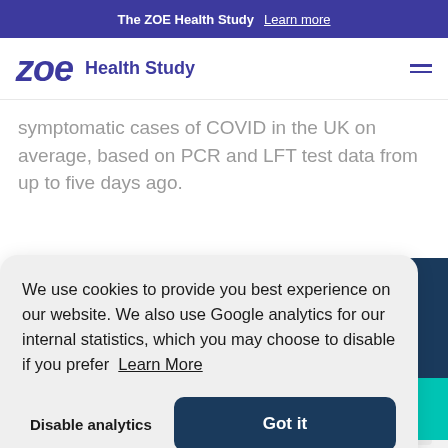The ZOE Health Study  Learn more
zoe Health Study
symptomatic cases of COVID in the UK on average, based on PCR and LFT test data from up to five days ago.
We use cookies to provide you best experience on our website. We also use Google analytics for our internal statistics, which you may choose to disable if you prefer  Learn More
Disable analytics   Got it